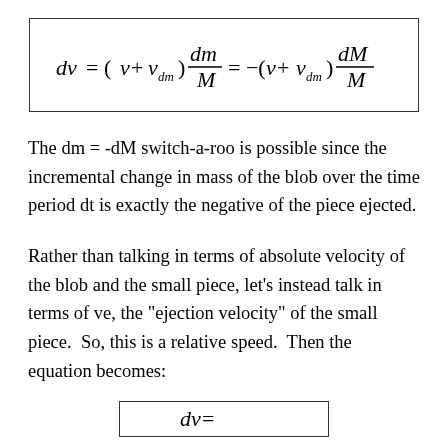The dm = -dM switch-a-roo is possible since the incremental change in mass of the blob over the time period dt is exactly the negative of the piece ejected.
Rather than talking in terms of absolute velocity of the blob and the small piece, let's instead talk in terms of ve, the "ejection velocity" of the small piece.  So, this is a relative speed.  Then the equation becomes: